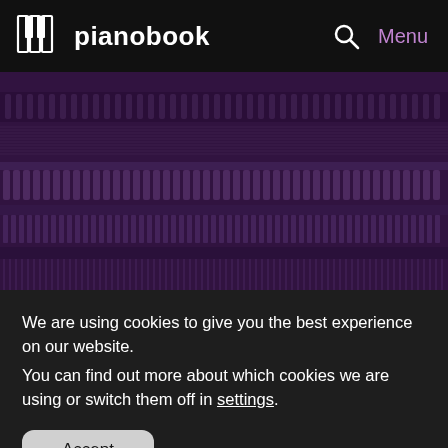pianobook
[Figure (photo): Close-up interior view of an upright piano mechanics/action with hammers, strings, and dampers, overlaid with a deep purple tint]
We are using cookies to give you the best experience on our website.
You can find out more about which cookies we are using or switch them off in settings.
Accept